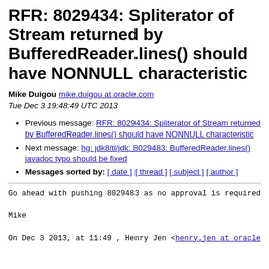RFR: 8029434: Spliterator of Stream returned by BufferedReader.lines() should have NONNULL characteristic
Mike Duigou mike.duigou at oracle.com
Tue Dec 3 19:48:49 UTC 2013
Previous message: RFR: 8029434: Spliterator of Stream returned by BufferedReader.lines() should have NONNULL characteristic
Next message: hg: jdk8/tl/jdk: 8029483: BufferedReader.lines() javadoc typo should be fixed
Messages sorted by: [ date ] [ thread ] [ subject ] [ author ]
Go ahead with pushing 8029483 as no approval is required

Mike

On Dec 3 2013, at 11:49 , Henry Jen <henry.jen at oracle